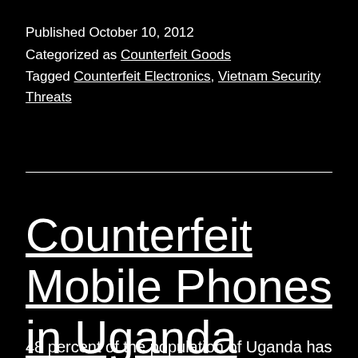Published October 10, 2012
Categorized as Counterfeit Goods
Tagged Counterfeit Electronics, Vietnam Security Threats
Counterfeit Mobile Phones in Uganda
48 percent of the population of Uganda has